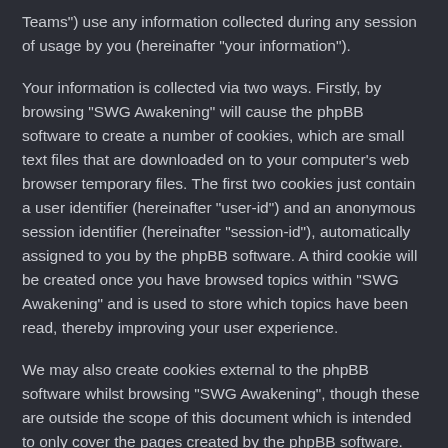Teams") use any information collected during any session of usage by you (hereinafter "your information").
Your information is collected via two ways. Firstly, by browsing "SWG Awakening" will cause the phpBB software to create a number of cookies, which are small text files that are downloaded on to your computer's web browser temporary files. The first two cookies just contain a user identifier (hereinafter "user-id") and an anonymous session identifier (hereinafter "session-id"), automatically assigned to you by the phpBB software. A third cookie will be created once you have browsed topics within "SWG Awakening" and is used to store which topics have been read, thereby improving your user experience.
We may also create cookies external to the phpBB software whilst browsing "SWG Awakening", though these are outside the scope of this document which is intended to only cover the pages created by the phpBB software. The second way in which we collect your information is by what you submit to us. This can be, and is not limited to: posting as an anonymous user (hereinafter "anonymous posts"), registering on "SWG Awakening" (hereinafter "your